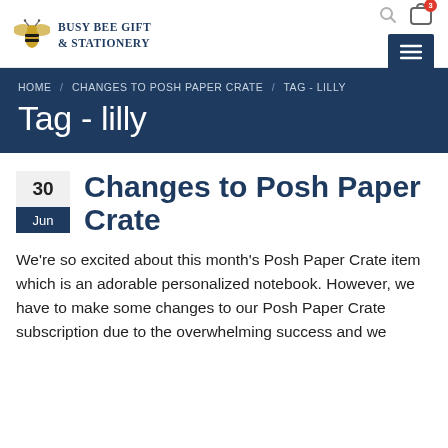BUSY BEE GIFT & STATIONERY
Tag - lilly
Changes to Posh Paper Crate
We're so excited about this month's Posh Paper Crate item which is an adorable personalized notebook. However, we have to make some changes to our Posh Paper Crate subscription due to the overwhelming success and we